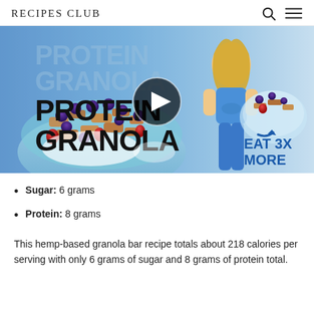RECIPES CLUB
[Figure (photo): Video thumbnail for Protein Granola recipe featuring a bowl of granola with berries and a fitness instructor, with text 'PROTEIN GRANOLA' and 'EAT 3X MORE', and a play button overlay.]
Sugar: 6 grams
Protein: 8 grams
This hemp-based granola bar recipe totals about 218 calories per serving with only 6 grams of sugar and 8 grams of protein total.